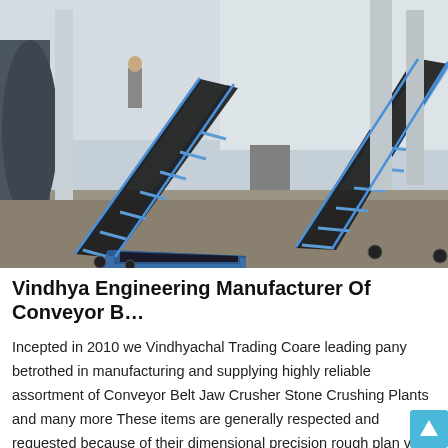[Figure (photo): Industrial conveyor belt systems with blue metal frame structures on a concrete floor at an outdoor/indoor facility. Two inclined conveyor belts are visible along with a hopper/loading bin at the base. Workers visible in the background.]
Vindhya Engineering Manufacturer Of Conveyor B…
Incepted in 2010 we Vindhyachal Trading Coare leading pany betrothed in manufacturing and supplying highly reliable assortment of Conveyor Belt Jaw Crusher Stone Crushing Plants and many more These items are generally respected and requested because of their dimensional precision rough plan vigor solidness unwavering quality cost viability and